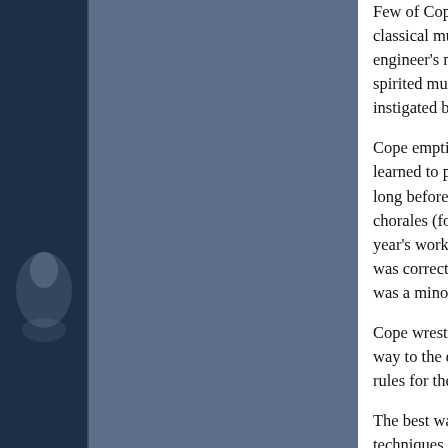[Figure (illustration): Dark blue sidebar panel on the left with a faint glowing orb or figure shape visible, and a mid-tone blue-gray panel to its right, occupying roughly the left third of the page.]
Few of Cope's major works, save a dalliance with classical music, so he wasn't a likely candidate to engineer's mind, composing using note-card outlin spirited musicians. He even claims to have create instigated by the singing of wind over guide wires
Cope emptied Santa Cruz's libraries of books on a learned to program. He built simple rules-based so long before he realized the task was too difficult. H chorales (four-part vocal hymns) in the style of Joh year's work, his program could compose chorales was correctly following the rules, smoothly connec was a minor triumph. As a method of producing cr
Cope wrestled with the problem for months, almos way to the drug store, Cope remembered that Bac rules for the sake of aesthetics. The program didn
The best way to replicate Bach's process was for t techniques and the behavior of breaking them. Co a database, note by note. Then he wrote a progra reassembled them the way Bach tended to put the
The results were a great improvement. Yet as Cop noticed that the music would often wander and lac seemed to be missing some ineffable essence.
Again, Cope hit the books, hoping to discover rese of years, musicologists had analyzed the rules of c explored the details of musical style; their descript